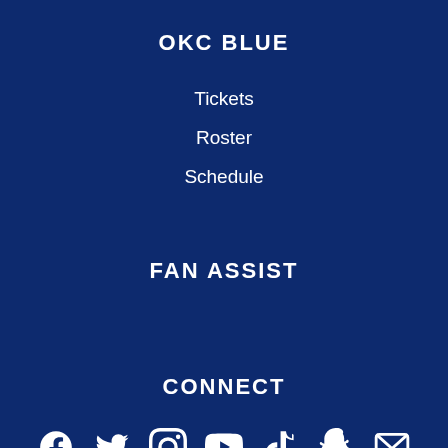OKC BLUE
Tickets
Roster
Schedule
FAN ASSIST
CONNECT
[Figure (infographic): Social media icons row: Facebook, Twitter, Instagram, YouTube, TikTok, Snapchat, Email]